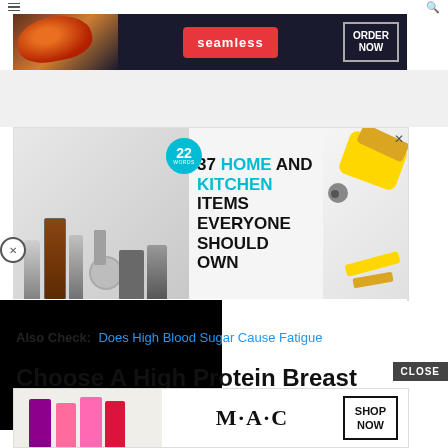[Figure (screenshot): Top navigation bar with hamburger menu icon on left and search icon on right]
[Figure (screenshot): Seamless food delivery ad banner at top: pizza image on left, Seamless logo in red, ORDER NOW button in outlined box, on dark background]
[Figure (screenshot): Middle ad: 37 Home And Kitchen Items Everyone Should Own - 22 Words article promo with kitchen gadget images]
[Figure (screenshot): Black video embed area overlaying left side of page]
Also Check: Does High Blood Sugar Cause Fatigue
Choose A High Protein Breakfast
[Figure (screenshot): MAC cosmetics ad banner at bottom with lipstick tubes, MAC logo, SHOP NOW button]
One th...ein